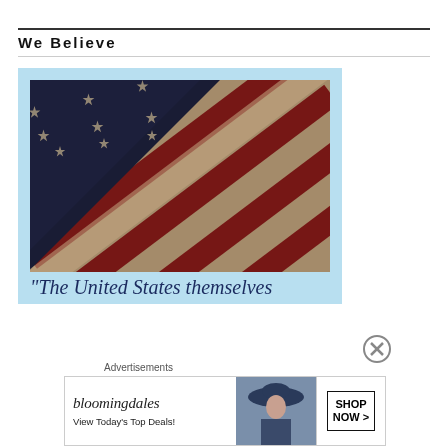We Believe
[Figure (photo): Close-up photograph of an American flag with stars and stripes, displayed with a light blue background/border, and partial italic quote text at the bottom: "The United States themselves"]
“The United States themselves
Advertisements
[Figure (other): Bloomingdale's advertisement banner: logo text 'bloomingdales', tagline 'View Today\'s Top Deals!', image of woman in hat, 'SHOP NOW >' button]